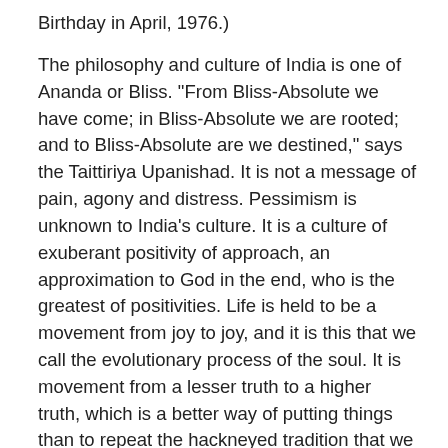Birthday in April, 1976.)
The philosophy and culture of India is one of Ananda or Bliss. "From Bliss-Absolute we have come; in Bliss-Absolute we are rooted; and to Bliss-Absolute are we destined," says the Taittiriya Upanishad. It is not a message of pain, agony and distress. Pessimism is unknown to India's culture. It is a culture of exuberant positivity of approach, an approximation to God in the end, who is the greatest of positivities. Life is held to be a movement from joy to joy, and it is this that we call the evolutionary process of the soul. It is movement from a lesser truth to a higher truth, which is a better way of putting things than to repeat the hackneyed tradition that we move from error to truth. In the glorious kingdom of God, which is within everyone, there cannot be any ultimate error. Error is only a misplacement of values. It has no ultimate existence and cannot have an absolute value. Absolute error is unthinkable, and it cannot be.